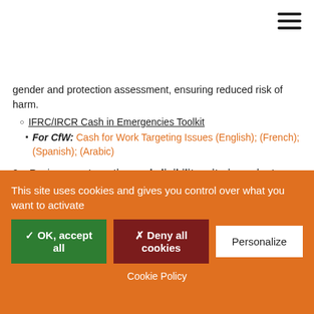gender and protection assessment, ensuring reduced risk of harm.
IFRC/IRCR Cash in Emergencies Toolkit
For CfW: Cash for Work Targeting Issues (English); (French); (Spanish); (Arabic)
2. Review your targeting and eligibility criteria against protection-related concerns, especially if your programme intends that children will directly receive (and collect) CVA. Also consider gender or inclusion sensitivity.
UHNCR Guide for Protection in Cash-based Interventions
Annex 2: Protection risks and benefits analytical tool (English);(French)
3. Select and validate targeting criteria for different groups of
This site uses cookies and gives you control over what you want to activate
✓ OK, accept all   ✗ Deny all cookies   Personalize
Cookie Policy